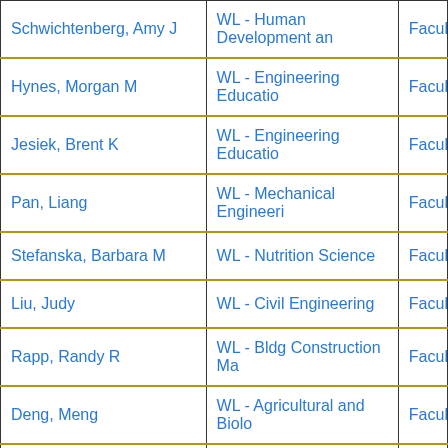| Name | Department | Role |
| --- | --- | --- |
| Schwichtenberg, Amy J | WL - Human Development an | Faculty |
| Hynes, Morgan M | WL - Engineering Educatio | Faculty |
| Jesiek, Brent K | WL - Engineering Educatio | Faculty |
| Pan, Liang | WL - Mechanical Engineeri | Faculty |
| Stefanska, Barbara M | WL - Nutrition Science | Faculty |
| Liu, Judy | WL - Civil Engineering | Faculty |
| Rapp, Randy R | WL - Bldg Construction Ma | Faculty |
| Deng, Meng | WL - Agricultural and Biolo | Faculty |
| Esters, Levon T | WL - Youth | Faculty |